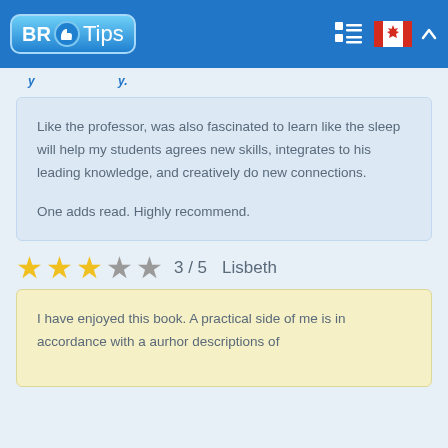BR Tips
Like the professor, was also fascinated to learn like the sleep will help my students agrees new skills, integrates to his leading knowledge, and creatively do new connections.

One adds read. Highly recommend.
★★★☆☆ 3 / 5  Lisbeth
I have enjoyed this book. A practical side of me is in accordance with a aurhor descriptions of